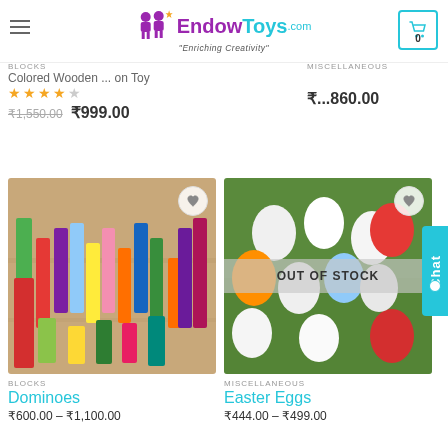EndowToys - Enriching Creativity
BLOCKS
Colored Wooden ... on Toy
★★★★☆
₹1,550.00  ₹999.00    ₹...860.00
[Figure (photo): Colorful wooden domino blocks standing upright in a row on a wooden surface]
[Figure (photo): Easter eggs of various colors (white, red, orange, blue) on green grass with OUT OF STOCK overlay]
BLOCKS
Dominoes
₹600.00 – ₹1,100.00
MISCELLANEOUS
Easter Eggs
₹444.00 – ₹499.00